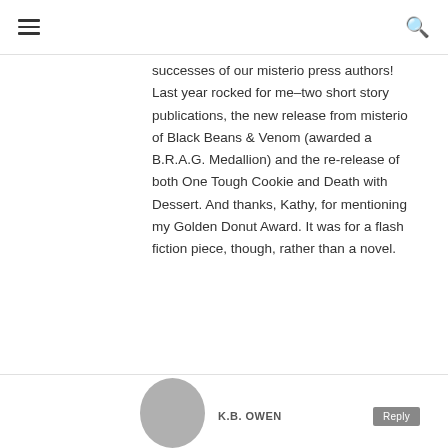navigation header with hamburger menu and search icon
successes of our misterio press authors! Last year rocked for me–two short story publications, the new release from misterio of Black Beans & Venom (awarded a B.R.A.G. Medallion) and the re-release of both One Tough Cookie and Death with Dessert. And thanks, Kathy, for mentioning my Golden Donut Award. It was for a flash fiction piece, though, rather than a novel.
K.B. OWEN